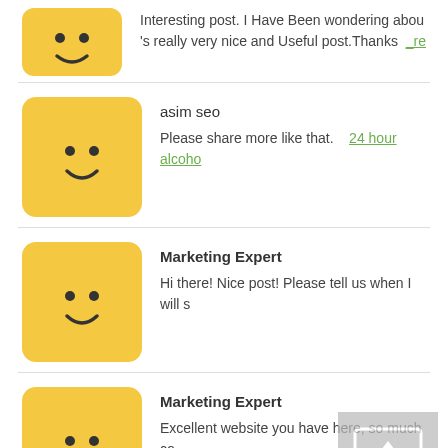[Figure (illustration): Yellow square emoji face avatar]
Interesting post. I Have Been wondering abou
's really very nice and Useful post.Thanks _re
[Figure (illustration): Yellow square emoji face avatar]
asim seo
Please share more like that.   24 hour alcoho
[Figure (illustration): Yellow square emoji face avatar]
Marketing Expert
Hi there! Nice post! Please tell us when I will s
[Figure (illustration): Yellow square emoji face avatar]
Marketing Expert
Excellent website you have here, so much co
[Figure (illustration): Scroll to top button icon]